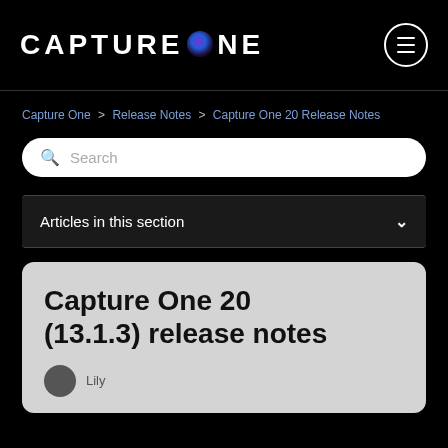CAPTURE ONE
Capture One > Release Notes > Capture One 20 Release Notes
Search
Articles in this section
Capture One 20 (13.1.3) release notes
Lily